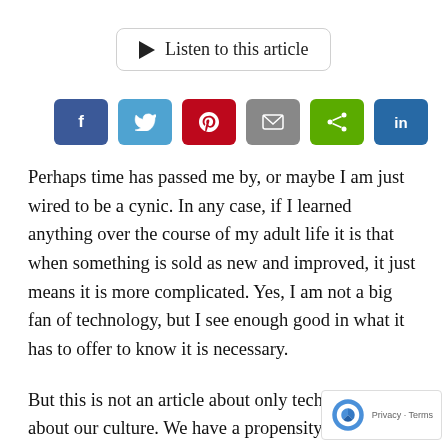[Figure (other): Listen to this article button with play triangle icon]
[Figure (other): Social share buttons row: Facebook (f), Twitter (y), Pinterest (p), Email (envelope), Share (<), LinkedIn (in)]
Perhaps time has passed me by, or maybe I am just wired to be a cynic. In any case, if I learned anything over the course of my adult life it is that when something is sold as new and improved, it just means it is more complicated. Yes, I am not a big fan of technology, but I see enough good in what it has to offer to know it is necessary.
But this is not an article about only technology. It's about our culture. We have a propensity to change what is not broken and, in the process, make us jump through hoop after hoop to realize doing